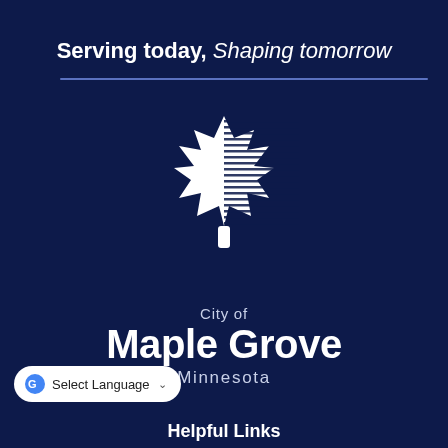Serving today, Shaping tomorrow
[Figure (logo): City of Maple Grove Minnesota logo — white maple leaf silhouette with horizontal line shading on right side, on dark navy background]
City of
Maple Grove
Minnesota
Select Language
Helpful Links